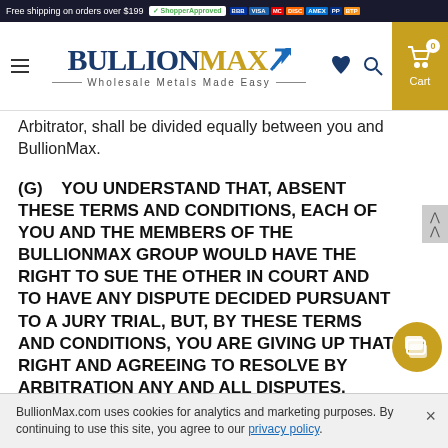Free shipping on orders over $199 | Shopper Approved | BBB Accredited Business | Visa | Mastercard | Discover | Amex | PayPal | Bitpay
[Figure (logo): BullionMax logo with tagline 'Wholesale Metals Made Easy', hamburger menu, phone icon, search icon, and cart icon]
Arbitrator, shall be divided equally between you and BullionMax.
(g)    YOU UNDERSTAND THAT, ABSENT THESE TERMS AND CONDITIONS, EACH OF YOU AND THE MEMBERS OF THE BULLIONMAX GROUP WOULD HAVE THE RIGHT TO SUE THE OTHER IN COURT AND TO HAVE ANY DISPUTE DECIDED PURSUANT TO A JURY TRIAL, BUT, BY THESE TERMS AND CONDITIONS, YOU ARE GIVING UP THAT RIGHT AND AGREEING TO RESOLVE BY ARBITRATION ANY AND ALL DISPUTES.
BullionMax.com uses cookies for analytics and marketing purposes. By continuing to use this site, you agree to our privacy policy.